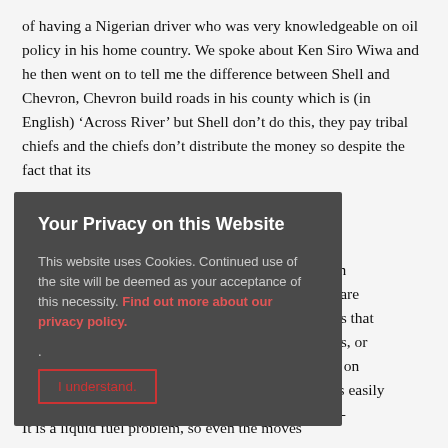of having a Nigerian driver who was very knowledgeable on oil policy in his home country. We spoke about Ken Siro Wiwa and he then went on to tell me the difference between Shell and Chevron, Chevron build roads in his county which is (in English) ‘Across River’ but Shell don’t do this, they pay tribal chiefs and the chiefs don’t distribute the money so despite the fact that its
t in ts are ans that ists, or ds on t is easily eo- on a
[Figure (screenshot): Privacy cookie consent overlay dialog with dark grey background. Title: 'Your Privacy on this Website'. Body text: 'This website uses Cookies. Continued use of the site will be deemed as your acceptance of this necessity. Find out more about our privacy policy.' Button: 'I understand.']
It is a liquid fuel problem, so even the moves